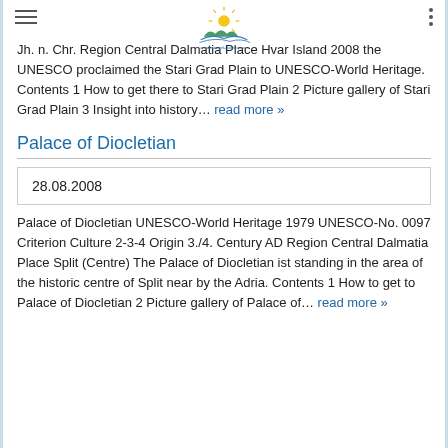croatia-travel-tourism.com header with logo
Jh. n. Chr. Region Central Dalmatia Place Hvar Island 2008 the UNESCO proclaimed the Stari Grad Plain to UNESCO-World Heritage. Contents 1 How to get there to Stari Grad Plain 2 Picture gallery of Stari Grad Plain 3 Insight into history… read more »
Palace of Diocletian
28.08.2008
Palace of Diocletian UNESCO-World Heritage 1979 UNESCO-No. 0097 Criterion Culture 2-3-4 Origin 3./4. Century AD Region Central Dalmatia Place Split (Centre) The Palace of Diocletian ist standing in the area of the historic centre of Split near by the Adria. Contents 1 How to get to Palace of Diocletian 2 Picture gallery of Palace of… read more »